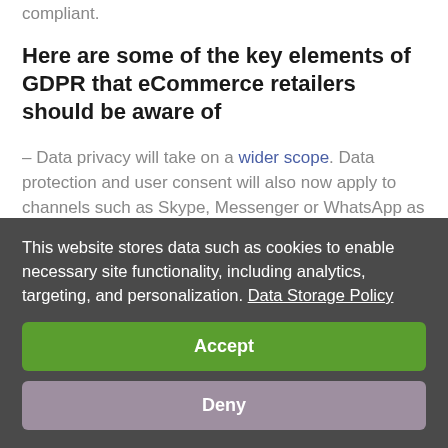compliant.
Here are some of the key elements of GDPR that eCommerce retailers should be aware of
– Data privacy will take on a wider scope. Data protection and user consent will also now apply to channels such as Skype, Messenger or WhatsApp as well as social
This website stores data such as cookies to enable necessary site functionality, including analytics, targeting, and personalization. Data Storage Policy
Accept
Deny